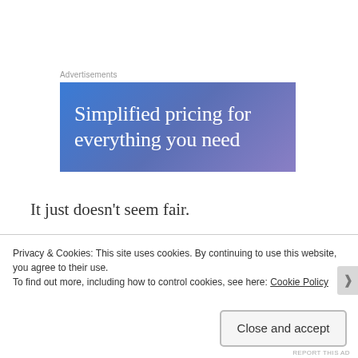Advertisements
[Figure (illustration): Advertisement banner with blue-to-purple gradient background showing text 'Simplified pricing for everything you need']
It just doesn't seem fair.
It's a Catch-22. The girls I get with are boring and uninteresting but the ones who would be a good match are smart enough to see through my bullshit and aren't
Privacy & Cookies: This site uses cookies. By continuing to use this website, you agree to their use.
To find out more, including how to control cookies, see here: Cookie Policy
Close and accept